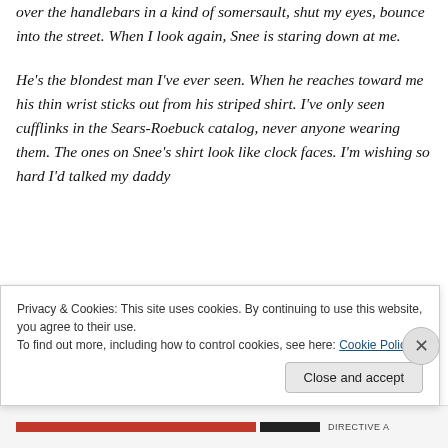over the handlebars in a kind of somersault, shut my eyes, bounce into the street. When I look again, Snee is staring down at me.
He's the blondest man I've ever seen. When he reaches toward me his thin wrist sticks out from his striped shirt. I've only seen cufflinks in the Sears-Roebuck catalog, never anyone wearing them. The ones on Snee's shirt look like clock faces. I'm wishing so hard I'd talked my daddy
Privacy & Cookies: This site uses cookies. By continuing to use this website, you agree to their use.
To find out more, including how to control cookies, see here: Cookie Policy